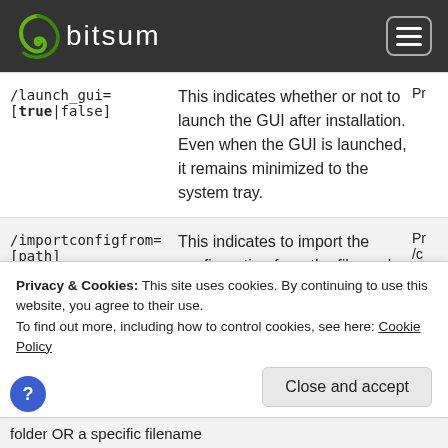bitsum
| Command | Description | Extra |
| --- | --- | --- |
| /launch_gui=[true|false] | This indicates whether or not to launch the GUI after installation. Even when the GUI is launched, it remains minimized to the system tray. | Pr |
| /importconfigfrom=[path] | This indicates to import the configuration from the file you've specified. This should be used in conjunction with | Pr /c /ir Pr |
Privacy & Cookies: This site uses cookies. By continuing to use this website, you agree to their use.
To find out more, including how to control cookies, see here: Cookie Policy
folder OR a specific filename